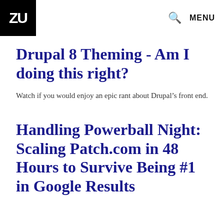ZU | MENU
Drupal 8 Theming - Am I doing this right?
Watch if you would enjoy an epic rant about Drupal’s front end.
Handling Powerball Night: Scaling Patch.com in 48 Hours to Survive Being #1 in Google Results